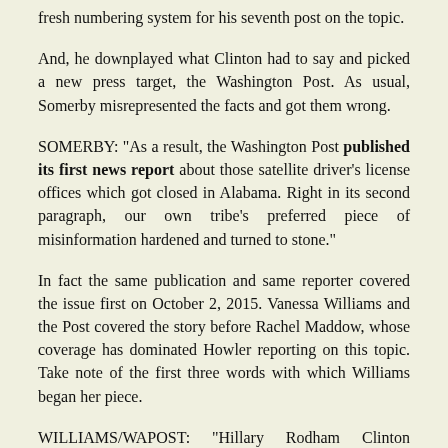fresh numbering system for his seventh post on the topic.
And, he downplayed what Clinton had to say and picked a new press target, the Washington Post. As usual, Somerby misrepresented the facts and got them wrong.
SOMERBY: "As a result, the Washington Post published its first news report about those satellite driver's license offices which got closed in Alabama. Right in its second paragraph, our own tribe's preferred piece of misinformation hardened and turned to stone."
In fact the same publication and same reporter covered the issue first on October 2, 2015. Vanessa Williams and the Post covered the story before Rachel Maddow, whose coverage has dominated Howler reporting on this topic. Take note of the first three words with which Williams began her piece.
WILLIAMS/WAPOST: "Hillary Rodham Clinton joined Democratic officials in Alabama in criticizing a decision by state officials to shutter 31 satellite driver's-license offices, mostly in areas heavily populated by African Americans, a move that could